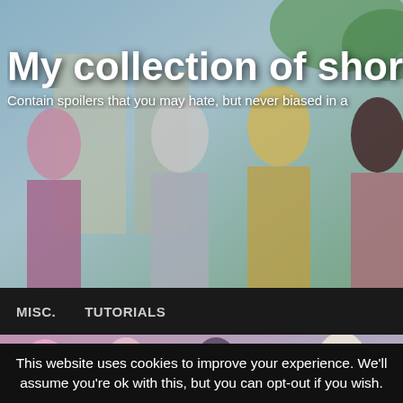[Figure (illustration): Anime characters banner header with colorful background, multiple anime girl characters visible]
My collection of short a
Contain spoilers that you may hate, but never biased in a
MISC.   TUTORIALS
[Figure (illustration): Second anime characters banner strip below navigation]
Posted by ranpha on 25th March 2009
Review: Blassreiter (ブラスレイター)
Posted in: anime review. Tagged: Blassreiter (ブラスレイター). Leave a Comment
Blassreiter Protein 101 explaine
This website uses cookies to improve your experience. We'll assume you're ok with this, but you can opt-out if you wish.